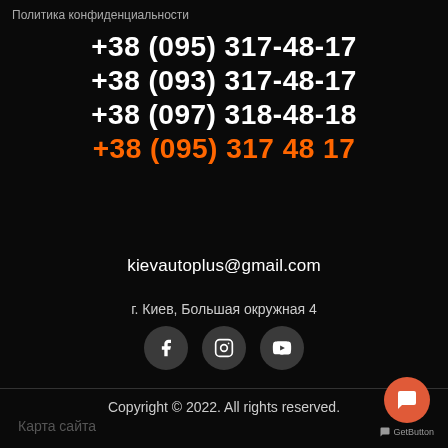Политика конфиденциальности
+38 (095) 317-48-17
+38 (093) 317-48-17
+38 (097) 318-48-18
+38 (095) 317 48 17
kievautoplus@gmail.com
г. Киев, Большая окружная 4
[Figure (other): Three social media icon circles: Facebook, Instagram, YouTube]
Copyright © 2022. All rights reserved.
Карта сайта
[Figure (other): GetButton chat widget button (orange circle with speech bubble icon) with label 'GetButton']